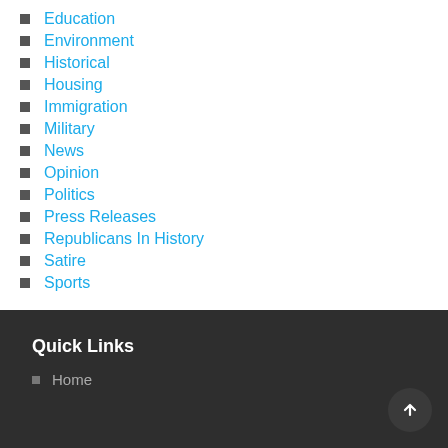Education
Environment
Historical
Housing
Immigration
Military
News
Opinion
Politics
Press Releases
Republicans In History
Satire
Sports
Quick Links
Home